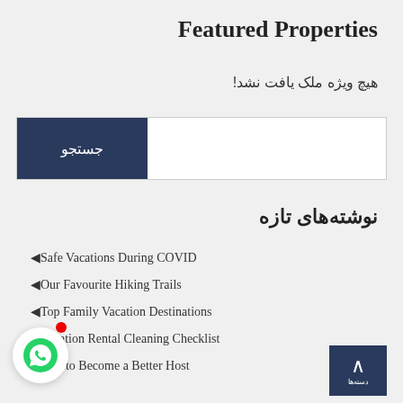Featured Properties
هیچ ویژه ملک یافت نشد!
نوشته‌های تازه
Safe Vacations During COVID
Our Favourite Hiking Trails
Top Family Vacation Destinations
Vacation Rental Cleaning Checklist
Tips to Become a Better Host